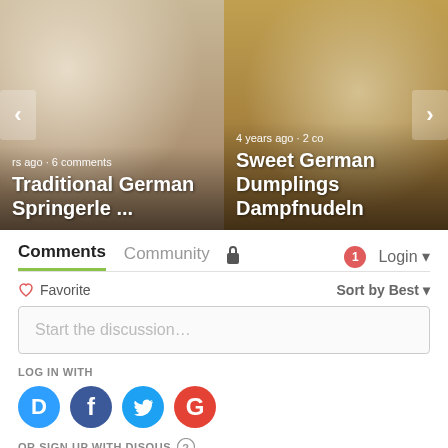[Figure (screenshot): Carousel card showing Traditional German Springerle cookies with text overlay: 'rs ago • 6 comments' and title 'Traditional German Springerle ...']
[Figure (screenshot): Carousel card showing Sweet German Dumplings with text overlay: '4 years ago • 2 co' and title 'Sweet German Dumplings Dampfnudeln']
Comments   Community   🔒   🔔1   Login ▼
♡ Favorite   Sort by Best ▼
Start the discussion…
LOG IN WITH
OR SIGN UP WITH DISQUS  ?